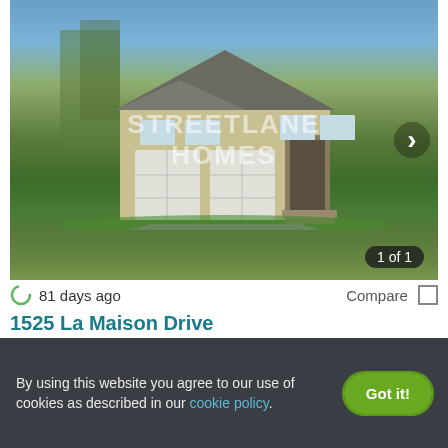[Figure (photo): Exterior photo of a two-story beige suburban house with two-car garage, driveway, and landscaped yard. Trees visible in background under blue sky. Watermark reads STREETLANE HOMES. Navigation arrow on right. Counter shows 1 of 1.]
81 days ago
Compare
1525 La Maison Drive
1525 La Maison Drive, Lawrenceville, GA 30043
Contact for availability
Verified
5 BEDS
Ask for pricing
By using this website you agree to our use of cookies as described in our cookie policy.